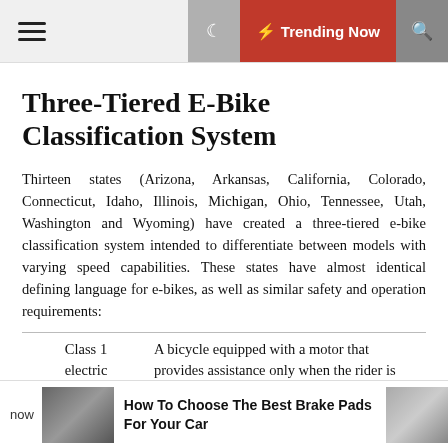≡  ☾  ⚡ Trending Now  🔍
Three-Tiered E-Bike Classification System
Thirteen states (Arizona, Arkansas, California, Colorado, Connecticut, Idaho, Illinois, Michigan, Ohio, Tennessee, Utah, Washington and Wyoming) have created a three-tiered e-bike classification system intended to differentiate between models with varying speed capabilities. These states have almost identical defining language for e-bikes, as well as similar safety and operation requirements:
| Class | Description |
| --- | --- |
| Class 1 electric | A bicycle equipped with a motor that provides assistance only when the rider is pedaling, and that ceases to provide |
[Figure (photo): Thumbnail image of brake components on a vehicle, shown at the bottom recommended bar]
How To Choose The Best Brake Pads For Your Car
[Figure (photo): Thumbnail image of a car, shown at the bottom recommended bar]